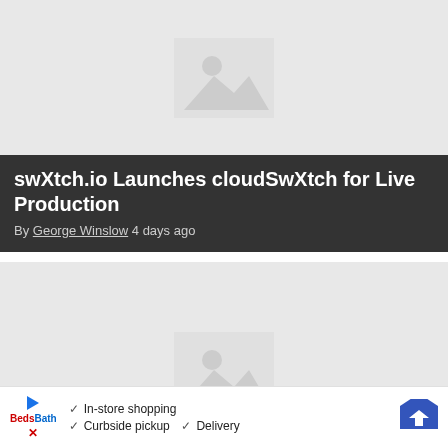[Figure (photo): Placeholder image thumbnail for first article]
swXtch.io Launches cloudSwXtch for Live Production
By George Winslow 4 days ago
[Figure (photo): Placeholder image thumbnail for second article]
LG Channels Adds Free-to-Stream
[Figure (infographic): Advertisement banner: In-store shopping, Curbside pickup, Delivery with direction icon]